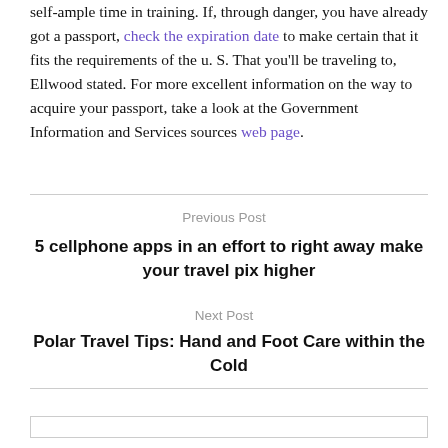self-ample time in training. If, through danger, you have already got a passport, check the expiration date to make certain that it fits the requirements of the u. S. That you'll be traveling to, Ellwood stated. For more excellent information on the way to acquire your passport, take a look at the Government Information and Services sources web page.
Previous Post
5 cellphone apps in an effort to right away make your travel pix higher
Next Post
Polar Travel Tips: Hand and Foot Care within the Cold